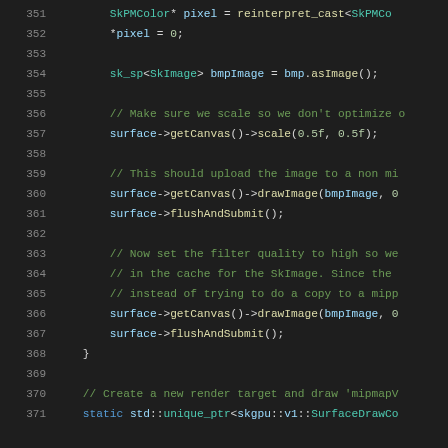[Figure (screenshot): Source code viewer showing C++ code lines 351-371 with syntax highlighting on dark background. Lines include SkPMColor pixel assignment, bmpImage creation, canvas scale, drawImage and flushAndSubmit calls, filter quality comments, and render target creation.]